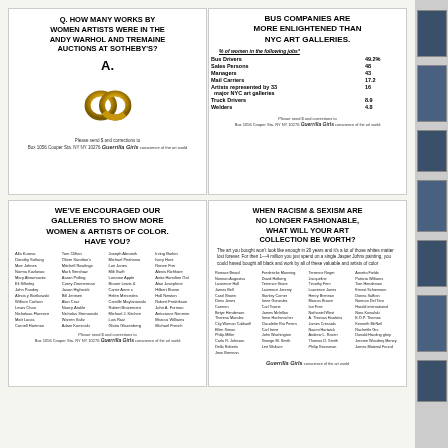[Figure (illustration): Guerrilla Girls poster: Q. How Many Works By Women Artists Were In The Andy Warhol And Tremaine Auctions At Sotheby's? A. [image of interlinked gold rings, implying zero]]
[Figure (infographic): Guerrilla Girls poster: Bus Companies Are More Enlightened Than NYC Art Galleries. Table of % of women in following jobs.]
| Job | % Women |
| --- | --- |
| Bus Drivers | 49.2% |
| Sales Persons | 48 |
| Managers | 43 |
| Mail Carriers | 17.2 |
| Artists represented by 33 major NYC art galleries | 16 |
| Truck Drivers | 8.9 |
| Welders | 4.8 |
[Figure (infographic): Guerrilla Girls poster: We've Encouraged Our Galleries To Show More Women & Artists Of Color. Have You? Lists of names.]
[Figure (infographic): Guerrilla Girls poster: When Racism & Sexism Are No Longer Fashionable, What Will Your Art Collection Be Worth?]